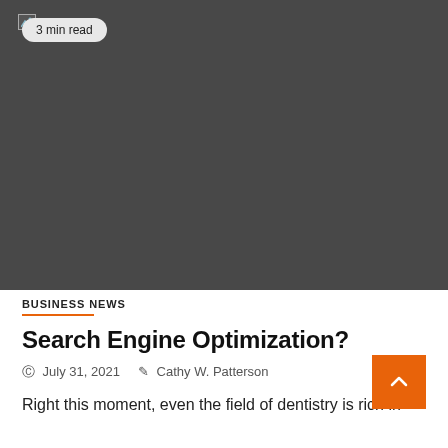[Figure (photo): Dark gray/charcoal hero image placeholder with a small broken image icon in the top-left corner and a '3 min read' badge overlay]
BUSINESS NEWS
Search Engine Optimization?
© July 31, 2021    ✎ Cathy W. Patterson
Right this moment, even the field of dentistry is rich in